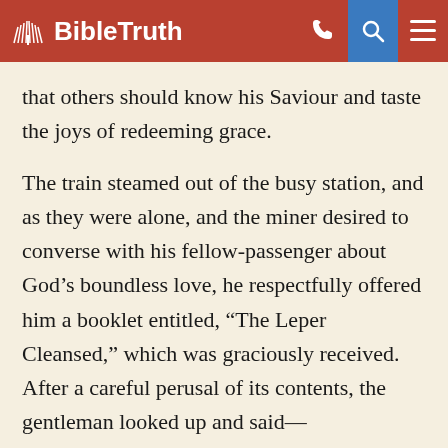BibleTruth
that others should know his Saviour and taste the joys of redeeming grace.
The train steamed out of the busy station, and as they were alone, and the miner desired to converse with his fellow-passenger about God’s boundless love, he respectfully offered him a booklet entitled, “The Leper Cleansed,” which was graciously received. After a careful perusal of its contents, the gentleman looked up and said—
“A very good tract this.”